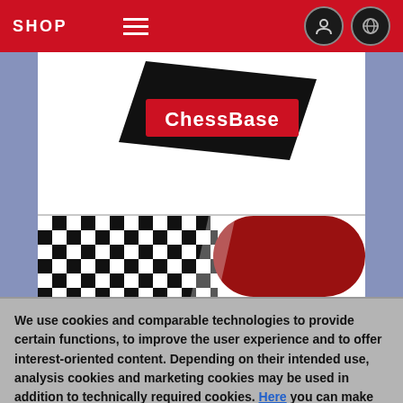[Figure (screenshot): Website navigation bar with SHOP text, hamburger menu, user icon and globe icon on red background]
[Figure (screenshot): ChessBase product box artwork showing logo in red banner on black background and checkered chess pattern with red section below]
We use cookies and comparable technologies to provide certain functions, to improve the user experience and to offer interest-oriented content. Depending on their intended use, analysis cookies and marketing cookies may be used in addition to technically required cookies. Here you can make detailed settings or revoke your consent (if necessary partially) with effect for the future. Further information can be found in our data protection declaration.